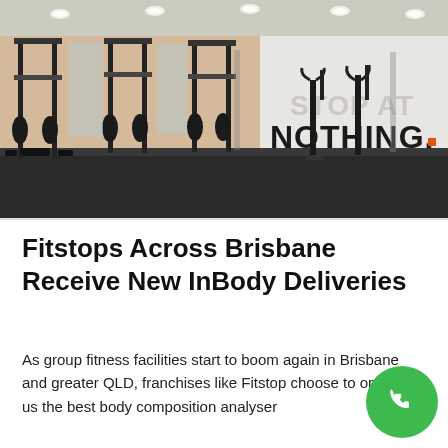[Figure (photo): Interior of a Fitstop gym featuring squat racks, weight plates, pull-up bars, exercise machines on a dark rubber floor. On the right wall, large bold text reads 'STOP AT NOTHING.' in dark and light lettering.]
Fitstops Across Brisbane Receive New InBody Deliveries
As group fitness facilities start to boom again in Brisbane and greater QLD, franchises like Fitstop choose to only us the best body composition analyser